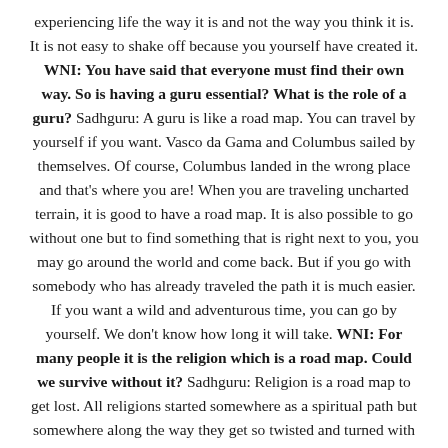experiencing life the way it is and not the way you think it is. It is not easy to shake off because you yourself have created it. WNI: You have said that everyone must find their own way. So is having a guru essential? What is the role of a guru? Sadhguru: A guru is like a road map. You can travel by yourself if you want. Vasco da Gama and Columbus sailed by themselves. Of course, Columbus landed in the wrong place and that's where you are! When you are traveling uncharted terrain, it is good to have a road map. It is also possible to go without one but to find something that is right next to you, you may go around the world and come back. But if you go with somebody who has already traveled the path it is much easier. If you want a wild and adventurous time, you can go by yourself. We don't know how long it will take. WNI: For many people it is the religion which is a road map. Could we survive without it? Sadhguru: Religion is a road map to get lost. All religions started somewhere as a spiritual path but somewhere along the way they get so twisted and turned with local culture and politics